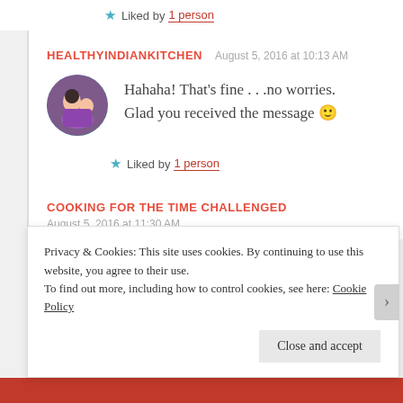★ Liked by 1 person
HEALTHYINDIANKITCHEN  August 5, 2016 at 10:13 AM
[Figure (photo): Circular avatar photo of a woman with a child]
Hahaha! That's fine . . .no worries. Glad you received the message 🙂
★ Liked by 1 person
COOKING FOR THE TIME CHALLENGED
August 5, 2016 at 11:30 AM
Privacy & Cookies: This site uses cookies. By continuing to use this website, you agree to their use. To find out more, including how to control cookies, see here: Cookie Policy
Close and accept